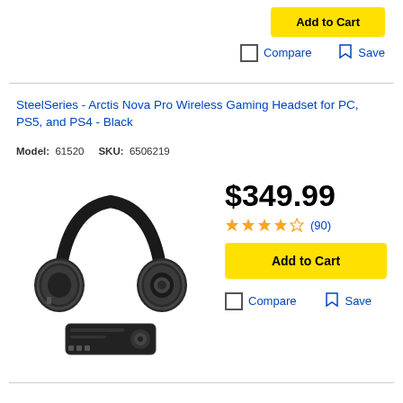Add to Cart
Compare  Save
SteelSeries - Arctis Nova Pro Wireless Gaming Headset for PC, PS5, and PS4 - Black
Model: 61520   SKU: 6506219
[Figure (photo): Black SteelSeries Arctis Nova Pro wireless gaming headset with ear cups and a DAC/amplifier unit below it]
$349.99
★★★★☆ (90)
Add to Cart
Compare  Save